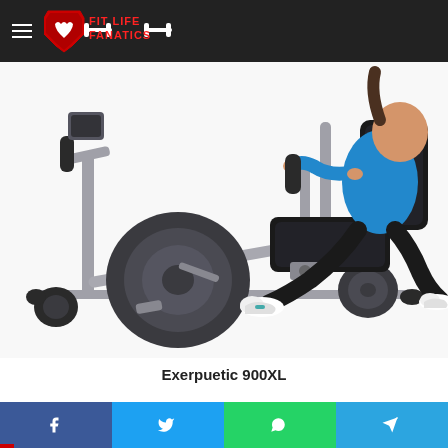Fit Life Fanatics
[Figure (photo): A person riding an Exerpuetic 900XL recumbent exercise bike. The bike is silver and dark grey, and the rider is wearing a blue top and black pants with white sneakers.]
Exerpuetic 900XL
Facebook  Twitter  WhatsApp  Telegram